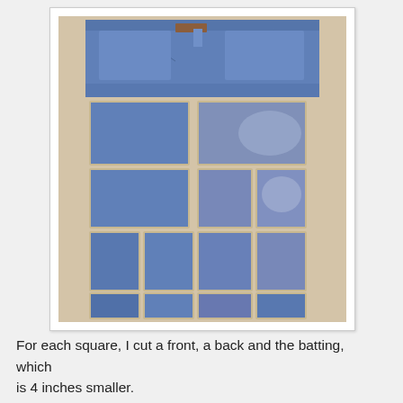[Figure (photo): A photo of a pair of blue jeans laid out on a beige carpet, with the jeans cut into multiple square/rectangular denim pieces arranged in a grid pattern below the waistband.]
For each square, I cut a front, a back and the batting, which is 4 inches smaller.